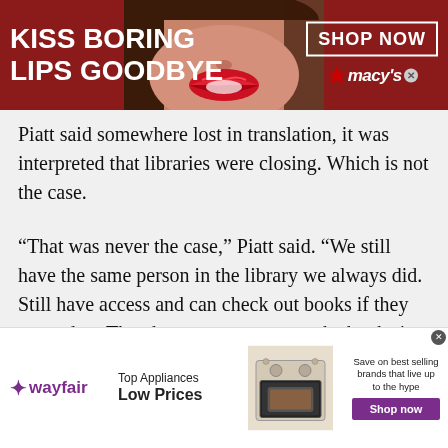[Figure (illustration): Macy's advertisement banner with red background, woman's face with red lips, text 'KISS BORING LIPS GOODBYE', 'SHOP NOW' button, and Macy's star logo]
Piatt said somewhere lost in translation, it was interpreted that libraries were closing. Which is not the case.
“That was never the case,” Piatt said. “We still have the same person in the library we always did. Still have access and can check out books if they wanted to. They have more access to the books in their classrooms.”
Students still have access through various programs or their scheduled time.
[Figure (illustration): Wayfair advertisement banner: Wayfair logo, 'Top Appliances Low Prices' text, image of stove appliance, 'Save on best selling brands that live up to the hype', purple 'Shop now' button]